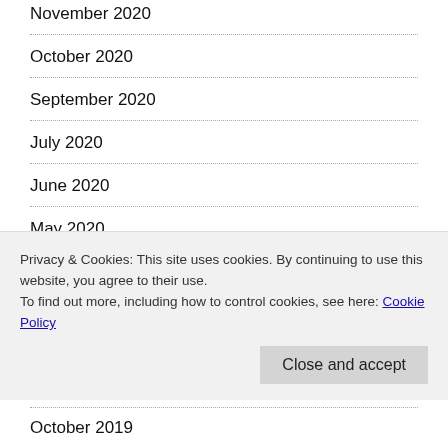November 2020
October 2020
September 2020
July 2020
June 2020
May 2020
April 2020
March 2020
February 2020
Privacy & Cookies: This site uses cookies. By continuing to use this website, you agree to their use.
To find out more, including how to control cookies, see here: Cookie Policy
October 2019